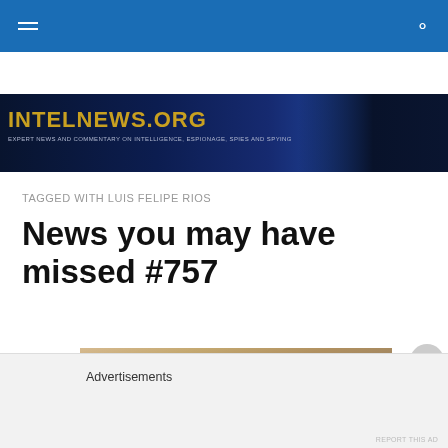[Figure (illustration): intelnews.org website banner with dark blue background showing a silhouetted figure and gold text reading INTELNEWS.ORG with subtitle EXPERT NEWS AND COMMENTARY ON INTELLIGENCE, ESPIONAGE, SPIES AND SPYING]
TAGGED WITH LUIS FELIPE RIOS
News you may have missed #757
[Figure (photo): Close-up photo of a person wearing glasses with a warm brown/golden tone]
Advertisements